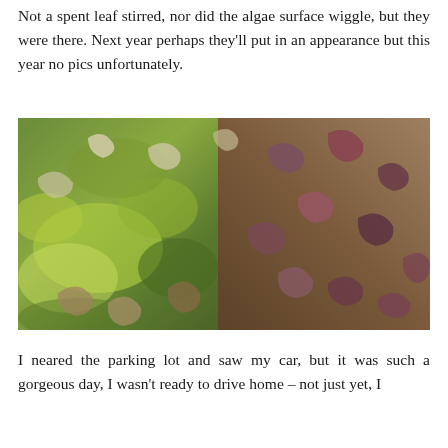Not a spent leaf stirred, nor did the algae surface wiggle, but they were there. Next year perhaps they'll put in an appearance but this year no pics unfortunately.
[Figure (photo): Close-up photograph of moss-covered ground with fallen autumn leaves in shades of brown, purple, and olive green mixed with bright green moss patches.]
I neared the parking lot and saw my car, but it was such a gorgeous day, I wasn't ready to drive home – not just yet, I